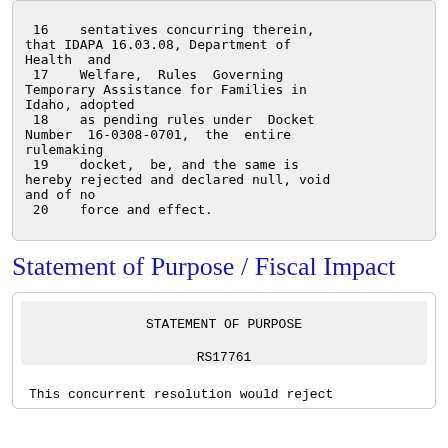16    sentatives concurring therein, that IDAPA 16.03.08, Department of Health  and
 17    Welfare,  Rules  Governing Temporary Assistance for Families in Idaho, adopted
 18    as pending rules under  Docket Number  16-0308-0701,  the  entire rulemaking
 19    docket,  be, and the same is hereby rejected and declared null, void and of no
 20    force and effect.
Statement of Purpose / Fiscal Impact
STATEMENT OF PURPOSE

RS17761

This concurrent resolution would reject